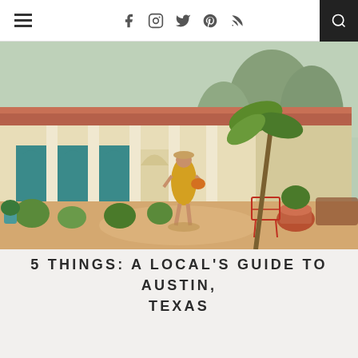Navigation bar with hamburger menu, social icons (Facebook, Instagram, Twitter, Pinterest, RSS), and search
[Figure (photo): Outdoor courtyard of a southwestern-style building with arched doorways, white columns, terracotta roof tiles, lush green plants, a woman in a yellow floral dress walking along a sandy path, and colorful outdoor furniture including a red wire chair]
5 THINGS: A LOCAL'S GUIDE TO AUSTIN, TEXAS